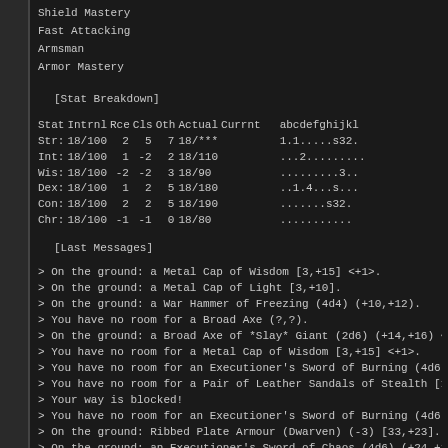Shield Mastery
Fast Attacking
Armsman
Armor Mastery
[Stat Breakdown]
| Stat | Intrnl | Rce | Cls | Oth | Actual | Currnt |  | abcdefghijkl |
| --- | --- | --- | --- | --- | --- | --- | --- | --- |
| Str: | 18/100 | 2 | 5 | 7 | 18/*** |  |  | 1.1.....s32. |
| Int: | 18/100 | 1 | -2 | 2 | 18/110 |  |  | ...2......... |
| Wis: | 18/100 | -2 | -2 | 3 | 18/90 |  |  | .........3.. |
| Dex: | 18/100 | 1 | 2 | 5 | 18/180 |  |  | ..1.4...s... |
| Con: | 18/100 | 2 | 2 | 5 | 18/190 |  |  | .......s32. |
| Chr: | 18/100 | -1 | -1 | 0 | 18/80 |  |  | ........... |
[Last Messages]
> On the ground: a Metal Cap of Wisdom [3,+15] <+1>.
> On the ground: a Metal Cap of Light [3,+10].
> On the ground: a War Hammer of Freezing (4d4) (+10,+12).
> You have no room for a Broad Axe (?,?).
> On the ground: a Broad Axe of *Slay* Giant (2d6) (+14,+16) <-
> You have no room for a Metal Cap of Wisdom [3,+15] <+1>.
> You have no room for an Executioner's Sword of Burning (4d6)
> You have no room for a Pair of Leather Sandals of Stealth [1
> Your way is blocked!
> You have no room for an Executioner's Sword of Burning (4d6)
> On the ground: Ribbed Plate Armour (Dwarven) (-3) [33,+23].
> On the ground: an Executioner's Sword of Chaos (4d6) (+24,+2
> You have no room for a Jewel Encrusted Crown [?,?].
> On the ground: The Jewel Encrusted Crown of the Hidden Kingdo
> You have no room for a Violet Potion of Blood Mastery.
[Character Equipment]